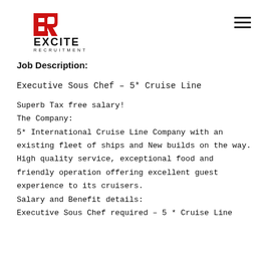[Figure (logo): Excite Recruitment logo with red ER letters and bold black text EXCITE RECRUITMENT]
Job Description:
Executive Sous Chef – 5* Cruise Line
Superb Tax free salary!
The Company:
5* International Cruise Line Company with an existing fleet of ships and New builds on the way. High quality service, exceptional food and friendly operation offering excellent guest experience to its cruisers.
Salary and Benefit details:
Executive Sous Chef required – 5 * Cruise Line